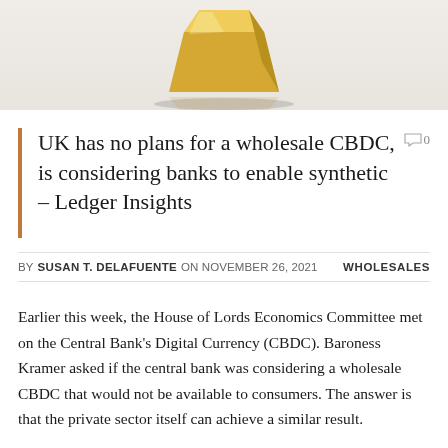[Figure (photo): Gold 3D shape or trophy on a reflective surface, partially cropped at the top of the page]
UK has no plans for a wholesale CBDC, is considering banks to enable synthetic – Ledger Insights
BY SUSAN T. DELAFUENTE ON NOVEMBER 26, 2021   WHOLESALES
Earlier this week, the House of Lords Economics Committee met on the Central Bank's Digital Currency (CBDC). Baroness Kramer asked if the central bank was considering a wholesale CBDC that would not be available to consumers. The answer is that the private sector itself can achieve a similar result.